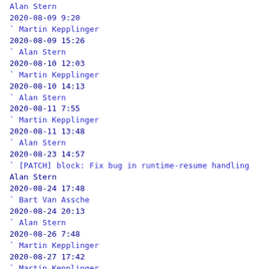Alan Stern
2020-08-09  9:20
` Martin Kepplinger
2020-08-09 15:26
` Alan Stern
2020-08-10 12:03
` Martin Kepplinger
2020-08-10 14:13
` Alan Stern
2020-08-11  7:55
` Martin Kepplinger
2020-08-11 13:48
` Alan Stern
2020-08-23 14:57
` [PATCH] block: Fix bug in runtime-resume handling
Alan Stern
2020-08-24 17:48
` Bart Van Assche
2020-08-24 20:13
` Alan Stern
2020-08-26  7:48
` Martin Kepplinger
2020-08-27 17:42
` Martin Kepplinger
2020-08-27 20:29
` Alan Stern
2020-08-29  7:24
` Martin Kepplinger
2020-08-29 15:26
` Alan Stern
2020-08-29 16:33